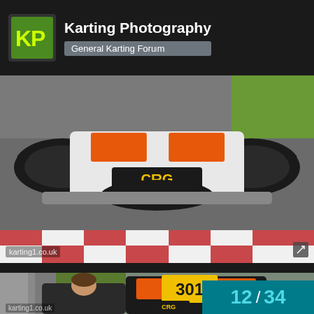Karting Photography — General Karting Forum
[Figure (photo): Close-up overhead view of a CRG kart on a racing circuit, showing the front of the kart with orange and black checkered livery, CRG branding visible on body panels, on asphalt track with red and white kerbing visible]
[Figure (photo): A man in a black jacket leaning over and lifting or inspecting a CRG kart with number 301, orange and black checkered livery, in a pit or paddock area with grey barriers in the background]
12 / 34